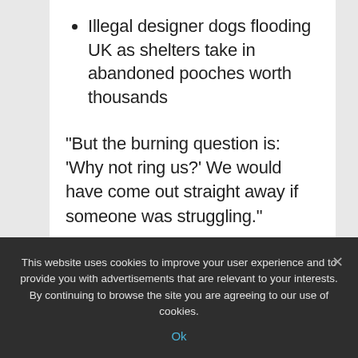Illegal designer dogs flooding UK as shelters take in abandoned pooches worth thousands
"But the burning question is: 'Why not ring us?' We would have come out straight away if someone was struggling."
She added that one of the hamsters is "blind" due to a possible birth defect, but has now
This website uses cookies to improve your user experience and to provide you with advertisements that are relevant to your interests. By continuing to browse the site you are agreeing to our use of cookies.
Ok